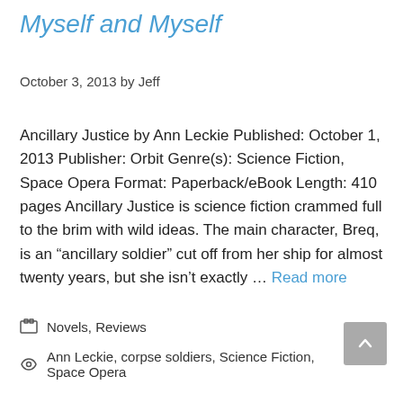Myself and Myself
October 3, 2013 by Jeff
Ancillary Justice by Ann Leckie Published: October 1, 2013 Publisher: Orbit Genre(s): Science Fiction, Space Opera Format: Paperback/eBook Length: 410 pages Ancillary Justice is science fiction crammed full to the brim with wild ideas. The main character, Breq, is an “ancillary soldier” cut off from her ship for almost twenty years, but she isn’t exactly … Read more
Novels, Reviews
Ann Leckie, corpse soldiers, Science Fiction, Space Opera